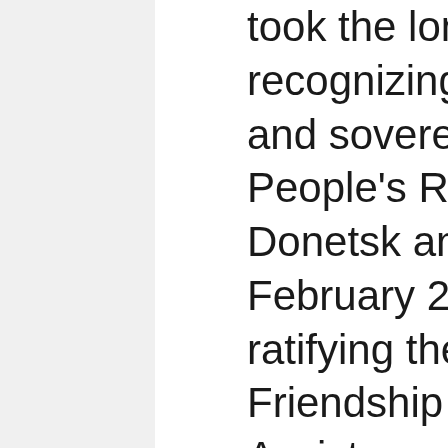took the long overdue step of recognizing the independence and sovereignty of the People's Republics of Donetsk and Lugansk on February 21, 2022 and ratifying the Treaties of Friendship and Mutual Assistance with said republics on the ground that the Ukrainian fascists and US and NATO sponsors have themselves wantonly violated and nullified the Minsk agreements.

Even as the US and all its